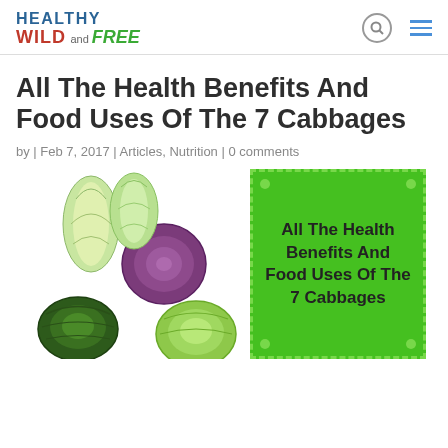HEALTHY WILD and FREE
All The Health Benefits And Food Uses Of The 7 Cabbages
by | Feb 7, 2017 | Articles, Nutrition | 0 comments
[Figure (photo): Various types of cabbage including napa, red/purple, savoy, and green cabbages arranged together, alongside a green promotional box with the article title.]